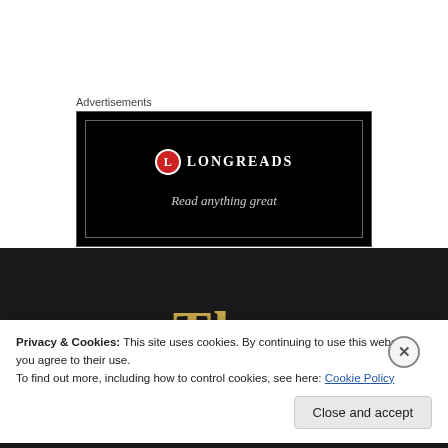Advertisements
[Figure (logo): Longreads advertisement banner with dark background, red circle L logo, LONGREADS text in white, and tagline 'Read anything great' in italic]
[Figure (screenshot): Dark website background showing partial serif text 'The' in gold/yellow color]
Privacy & Cookies: This site uses cookies. By continuing to use this website, you agree to their use.
To find out more, including how to control cookies, see here: Cookie Policy
Close and accept